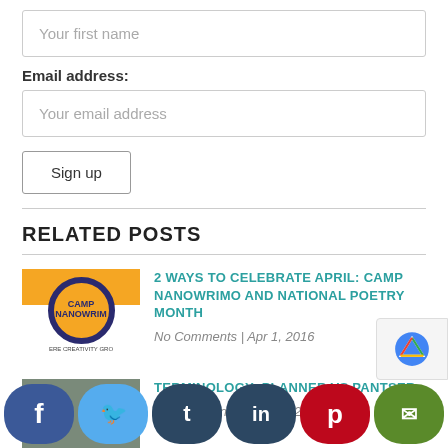Your first name
Email address:
Your email address
Sign up
RELATED POSTS
[Figure (photo): Camp NaNoWriMo logo thumbnail]
2 WAYS TO CELEBRATE APRIL: CAMP NANOWRIMO AND NATIONAL POETRY MONTH
No Comments | Apr 1, 2016
[Figure (photo): Rolls of paper/material thumbnail for Planner vs Pantser post]
TERMINOLOGY: PLANNER VS PANTSER
No Comments | Jan 28, 2016
[Figure (photo): Partial thumbnail for third post]
SCHEDULES ARE A NECESSARY EVI...